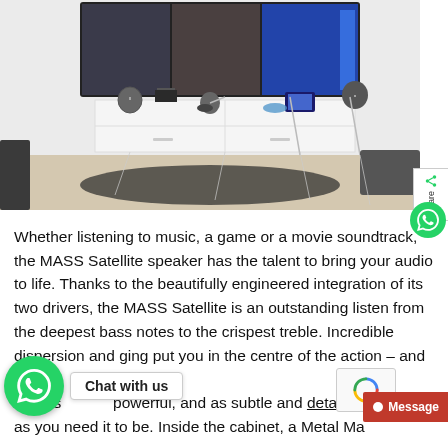[Figure (photo): Living room setup with a large wall-mounted TV showing three screens, a white media console with speakers, electronic devices, and a dark rug on the floor. Multiple small satellite speakers are visible on the console.]
Whether listening to music, a game or a movie soundtrack, the MASS Satellite speaker has the talent to bring your audio to life. Thanks to the beautifully engineered integration of its two drivers, the MASS Satellite is an outstanding listen from the deepest bass notes to the crispest treble. Incredible dispersion and imaging put you in the centre of the action - and the same drivers that put you there are as powerful, and as subtle and detailed as you need it to be. Inside the cabinet, a Metal Ma